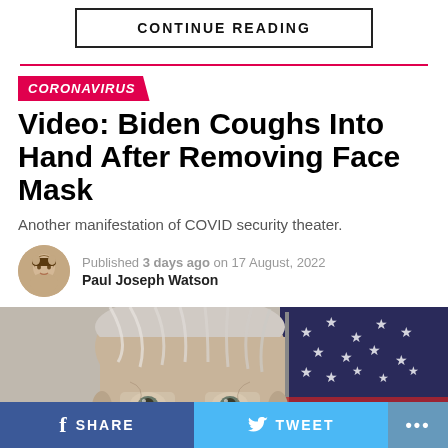CONTINUE READING
CORONAVIRUS
Video: Biden Coughs Into Hand After Removing Face Mask
Another manifestation of COVID security theater.
Published 3 days ago on 17 August, 2022
Paul Joseph Watson
[Figure (photo): Close-up photo of an elderly man (Biden) with gray hair, with an American flag in the background]
SHARE   TWEET   ...